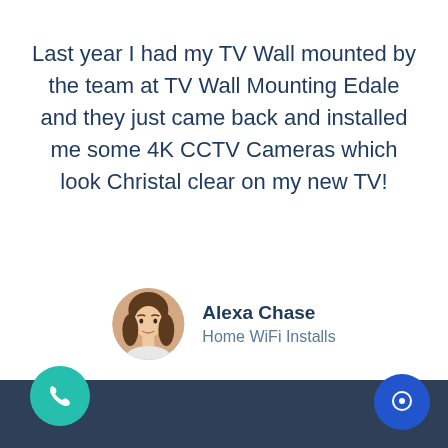Last year I had my TV Wall mounted by the team at TV Wall Mounting Edale and they just came back and installed me some 4K CCTV Cameras which look Christal clear on my new TV!
[Figure (photo): Circular avatar photo of Alexa Chase, a woman with brown hair]
Alexa Chase
Home WiFi Installs
[Figure (other): Dark teal footer bar with phone call button (teal circle with phone icon) on the left and blue chat button on the right]